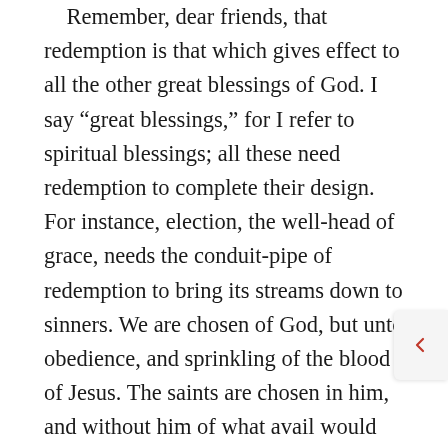Remember, dear friends, that redemption is that which gives effect to all the other great blessings of God. I say “great blessings,” for I refer to spiritual blessings; all these need redemption to complete their design. For instance, election, the well-head of grace, needs the conduit-pipe of redemption to bring its streams down to sinners. We are chosen of God, but unto obedience, and sprinkling of the blood of Jesus. The saints are chosen in him, and without him of what avail would election be? Where, also, would be our calling? Vain would it be to be called if